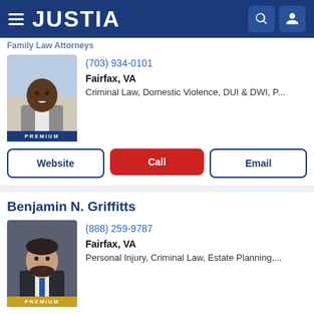JUSTIA
[Figure (photo): Partial attorney profile photo (Black male, smiling, gray suit) with PREMIUM badge]
(703) 934-0101
Fairfax, VA
Criminal Law, Domestic Violence, DUI & DWI, P...
Website | Call | Email
Benjamin N. Griffitts
[Figure (photo): Attorney profile photo (Hispanic male, beard, dark suit, blue tie) with PREMIUM gold badge]
(888) 259-9787
Fairfax, VA
Personal Injury, Criminal Law, Estate Planning,...
Website | Call | Email